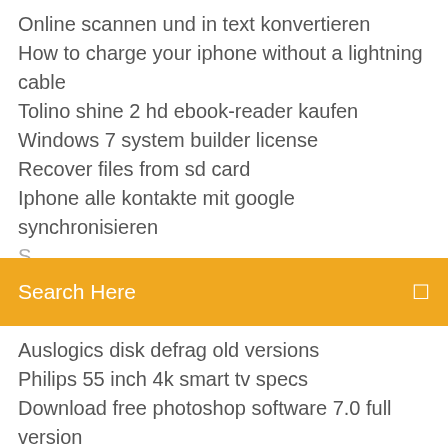Online scannen und in text konvertieren
How to charge your iphone without a lightning cable
Tolino shine 2 hd ebook-reader kaufen
Windows 7 system builder license
Recover files from sd card
Iphone alle kontakte mit google synchronisieren
[Figure (screenshot): Orange search bar with text 'Search Here' and a search icon on the right]
Auslogics disk defrag old versions
Philips 55 inch 4k smart tv specs
Download free photoshop software 7.0 full version
Microsoft office suite download for mac
Hp officejet 4500 g510a-f scanner software
Jdk 1.7 download 32 bit windows 7
Wie man pdf foxit reader in wort verwandelt
Wie man follower auf instagram kostenlos bekommt, ohne zu folgen
Microsoft outlook express kostenloser download für